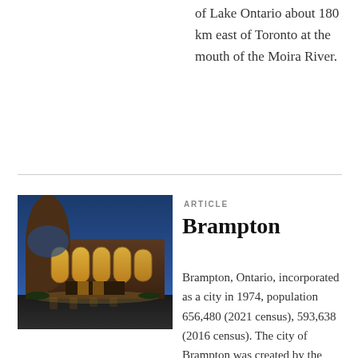of Lake Ontario about 180 km east of Toronto at the mouth of the Moira River.
[Figure (photo): Nighttime exterior photograph of a large modern civic building with curved glass facade and warm interior lighting, set against a blue twilight sky.]
ARTICLE
Brampton
Brampton, Ontario, incorporated as a city in 1974, population 656,480 (2021 census), 593,638 (2016 census). The city of Brampton was created by the amalgamation of the Town of Brampton, the south half of Chi…